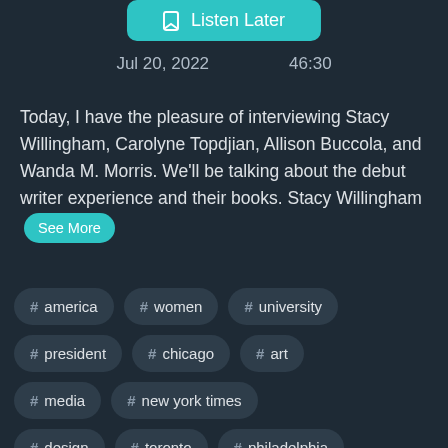[Figure (screenshot): Listen Later button with bookmark icon on teal background]
Jul 20, 2022    46:30
Today, I have the pleasure of interviewing Stacy Willingham, Carolyne Topdjian, Allison Buccola, and Wanda M. Morris. We'll be talking about the debut writer experience and their books. Stacy Willingham   See More
# america
# women
# university
# president
# chicago
# art
# media
# new york times
# design
# toronto
# philadelphia